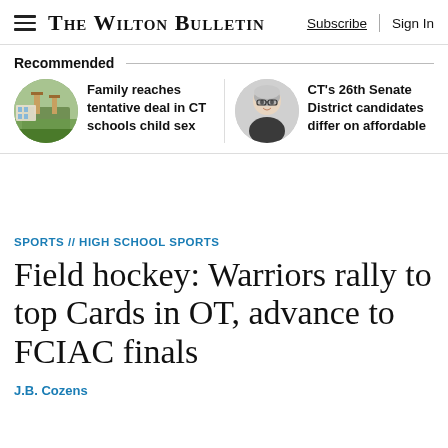THE WILTON BULLETIN   Subscribe   Sign In
Recommended
[Figure (photo): Circular thumbnail photo of a school building exterior with trees]
Family reaches tentative deal in CT schools child sex
[Figure (photo): Circular thumbnail portrait of a woman with short gray hair and glasses, smiling]
CT's 26th Senate District candidates differ on affordable
SPORTS // HIGH SCHOOL SPORTS
Field hockey: Warriors rally to top Cards in OT, advance to FCIAC finals
J.B. Cozens